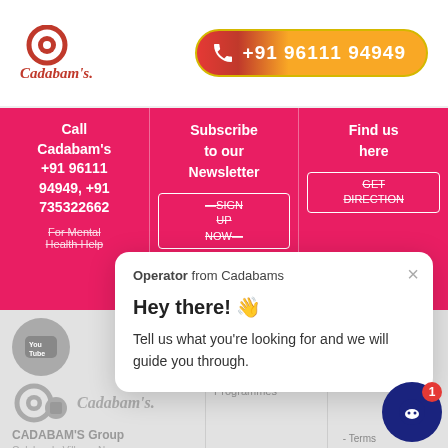[Figure (logo): Cadabam's logo with red swirl icon and brand name]
+91 96111 94949
Call Cadabam's +91 96111 94949, +91 735322662
Subscribe to our Newsletter
SIGN UP NOW
Find us here
GET DIRECTION
For Mental Health Help
Cadabam's
CADABAM'S Group
Gulakmale Village, Near
LINKS
About Us
What We Treat
Programmes
RES
Operator from Cadabams
Hey there! 👋
Tell us what you're looking for and we will guide you through.